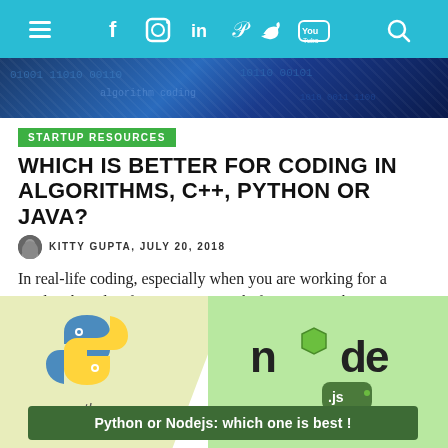Navigation bar with menu, social icons (Facebook, Instagram, LinkedIn, Pinterest, Twitter, YouTube), and search
[Figure (photo): Blue-toned hero image strip at top of article]
STARTUP RESOURCES
WHICH IS BETTER FOR CODING IN ALGORITHMS, C++, PYTHON OR JAVA?
KITTY GUPTA, JULY 20, 2018
In real-life coding, especially when you are working for a product based Software Company, before writing the
[Figure (infographic): Split infographic showing Python logo on yellow-green left panel and Node.js logo on light green right panel, with caption banner 'Python or Nodejs: which one is best!']